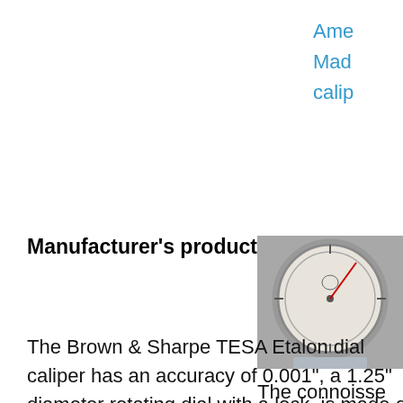Ame
Mad
calip
Manufacturer's product description
[Figure (photo): A dial caliper being held in a hand, showing the circular dial face with a prancing pony logo visible on the dial.]
The Brown & Sharpe TESA Etalon dial caliper has an accuracy of 0.001", a 1.25" diameter rotating dial with a lock, is made of stainless steel, and measures in inches. The covered rack helps prevent measurement error by protecting the gear from
The connoisse calipers once featured the prancing pony on the dial. Notice that smal